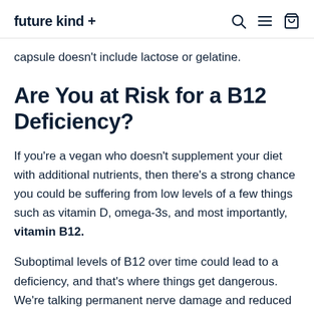future kind +
capsule doesn't include lactose or gelatine.
Are You at Risk for a B12 Deficiency?
If you're a vegan who doesn't supplement your diet with additional nutrients, then there's a strong chance you could be suffering from low levels of a few things such as vitamin D, omega-3s, and most importantly, vitamin B12.
Suboptimal levels of B12 over time could lead to a deficiency, and that's where things get dangerous. We're talking permanent nerve damage and reduced cognitive function here.